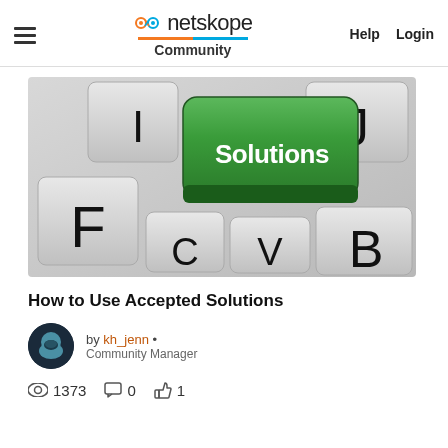netskope Community | Help Login
[Figure (photo): Keyboard with a green key labeled 'Solutions' surrounded by white keys labeled F, I, J, C, V, B]
How to Use Accepted Solutions
by kh_jenn • Community Manager
1373 views, 0 comments, 1 like